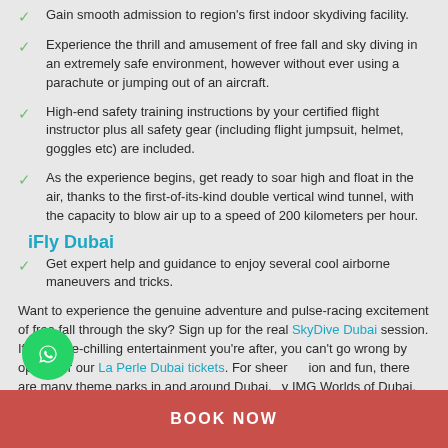Gain smooth admission to region's first indoor skydiving facility.
Experience the thrill and amusement of free fall and sky diving in an extremely safe environment, however without ever using a parachute or jumping out of an aircraft.
High-end safety training instructions by your certified flight instructor plus all safety gear (including flight jumpsuit, helmet, goggles etc) are included.
As the experience begins, get ready to soar high and float in the air, thanks to the first-of-its-kind double vertical wind tunnel, with the capacity to blow air up to a speed of 200 kilometers per hour.
iFly Dubai
Get expert help and guidance to enjoy several cool airborne maneuvers and tricks.
Want to experience the genuine adventure and pulse-racing excitement of free fall through the sky? Sign up for the real SkyDive Dubai session. If it's spine-chilling entertainment you're after, you can't go wrong by opting for our La Perle Dubai tickets. For sheer ion and fun, there are many theme parks in and around Dubai, y IMG Worlds of Dubai, Ferrari World Theme Park, and Warner Abu Dhabi.
BOOK NOW